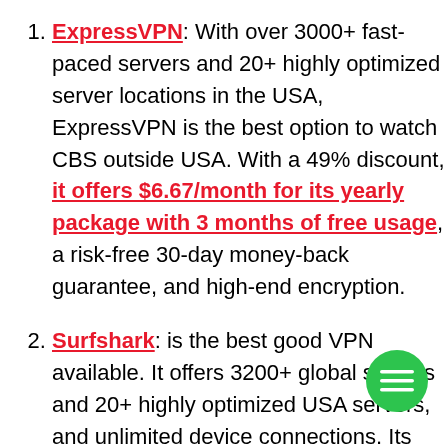ExpressVPN: With over 3000+ fast-paced servers and 20+ highly optimized server locations in the USA, ExpressVPN is the best option to watch CBS outside USA. With a 49% discount, it offers $6.67/month for its yearly package with 3 months of free usage, a risk-free 30-day money-back guarantee, and high-end encryption.
Surfshark: is the best good VPN available. It offers 3200+ global servers and 20+ highly optimized USA servers, and unlimited device connections. Its prices are $12.95, but with an 82% discount, they offer $2.30/month for its 2-year package network to watch CBS outside USA or from anywhere.
NordVPN: Is the most authentic, with 5,000+